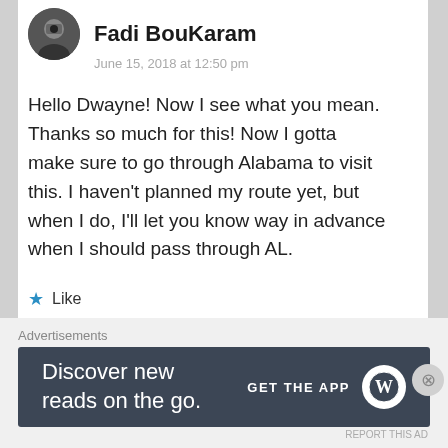Fadi BouKaram
June 15, 2018 at 12:50 pm
Hello Dwayne! Now I see what you mean. Thanks so much for this! Now I gotta make sure to go through Alabama to visit this. I haven't planned my route yet, but when I do, I'll let you know way in advance when I should pass through AL.
★ Like
Reply
Advertisements
[Figure (logo): Parse.ly logo with green leaf icon]
[Figure (photo): Partial photo showing a person]
Advertisements
[Figure (screenshot): WordPress app advertisement banner: Discover new reads on the go. GET THE APP with WordPress logo]